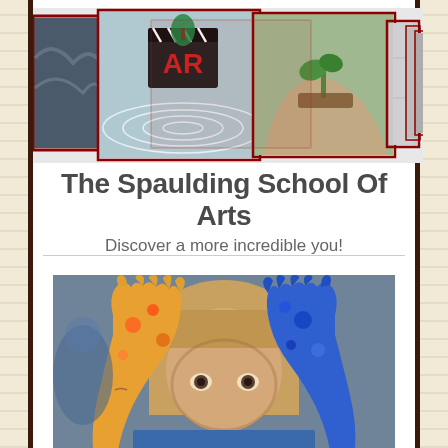[Figure (photo): Horizontal collage/banner of overlapping images: stormy sky, water ripple with AR text clapper, hands holding plant seedling, architectural elements — bordered with dark red frames]
The Spaulding School Of Arts
Discover a more incredible you!
[Figure (photo): Child with paint-covered hands held up in front of face making circles with fingers around eyes, wearing blue shirt, colorful paint on hands in yellow, blue, orange, red]